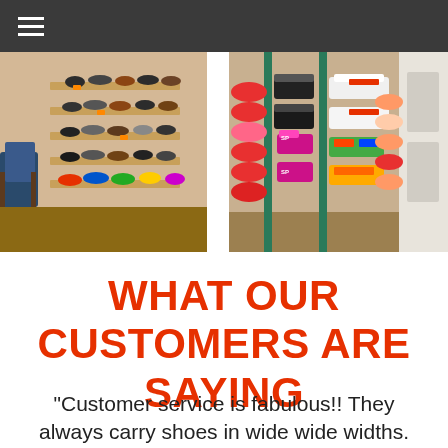[Figure (photo): Two photos of a shoe store interior side by side. Left photo shows shelves of shoes along a wall with a chair visible. Right photo shows a rack of colorful shoes and slippers.]
WHAT OUR CUSTOMERS ARE SAYING
"Customer service is fabulous!! They always carry shoes in wide wide widths. They carry great name brand